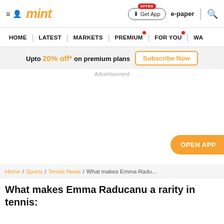≡ 🔍 mint | Get App | e-paper | search
HOME | LATEST | MARKETS | PREMIUM | FOR YOU | WA
Upto 20% off* on premium plans  Subscribe Now
Advertisement
OPEN APP
Home / Sports / Tennis News / What makes Emma Radu...
What makes Emma Raducanu a rarity in tennis: